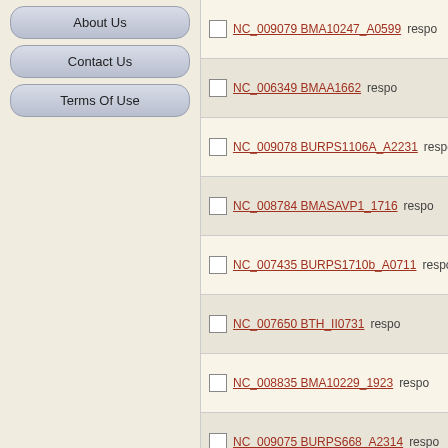About Us
Contact Us
Terms Of Use
|  | ID | Gene | Type |
| --- | --- | --- | --- |
| ☐ | NC_009079 | BMA10247_A0599 | respo |
| ☐ | NC_006349 | BMAA1662 | respo |
| ☐ | NC_009078 | BURPS1106A_A2231 | respo |
| ☐ | NC_008784 | BMASAVP1_1716 | respo |
| ☐ | NC_007435 | BURPS1710b_A0711 | respo |
| ☐ | NC_007650 | BTH_II0731 | respo |
| ☐ | NC_008835 | BMA10229_1923 | respo |
| ☐ | NC_009075 | BURPS668_A2314 | respo |